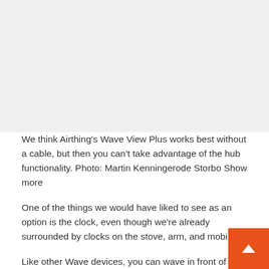[Figure (photo): Large photo area (image not visible in this portion of the page) — top half of the document page, grey placeholder area]
We think Airthing's Wave View Plus works best without a cable, but then you can't take advantage of the hub functionality. Photo: Martin Kenningerode Storbo Show more
One of the things we would have liked to see as an option is the clock, even though we're already surrounded by clocks on the stove, arm, and mobi
Like other Wave devices, you can wave in front of the